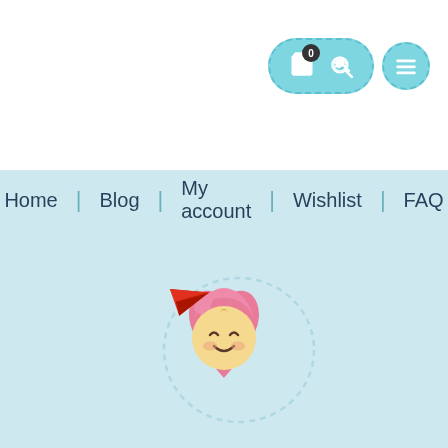[Figure (screenshot): Navigation icon row with shopping bag icon with badge '0', key icon in a pill-shaped teal button, and a teal circle with hamburger menu icon]
Home | Blog | My account | Wishlist | FAQ
[Figure (illustration): Cute cartoon heart-shaped character with a happy face wearing a pink hood, with a red paper airplane, surrounded by a dashed circle outline]
Information
About Us